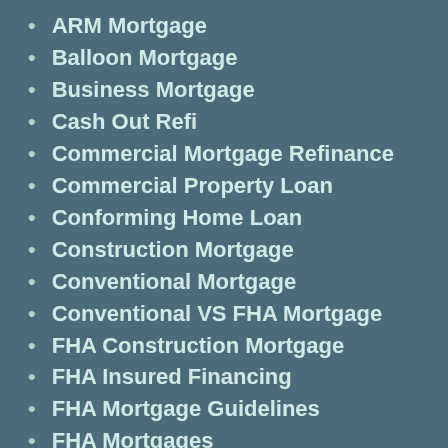ARM Mortgage
Balloon Mortgage
Business Mortgage
Cash Out Refi
Commercial Mortgage Refinance
Commercial Property Loan
Conforming Home Loan
Construction Mortgage
Conventional Mortgage
Conventional VS FHA Mortgage
FHA Construction Mortgage
FHA Insured Financing
FHA Mortgage Guidelines
FHA Mortgages
First Time Home Buyers Program
Fixed Mortgage Rates